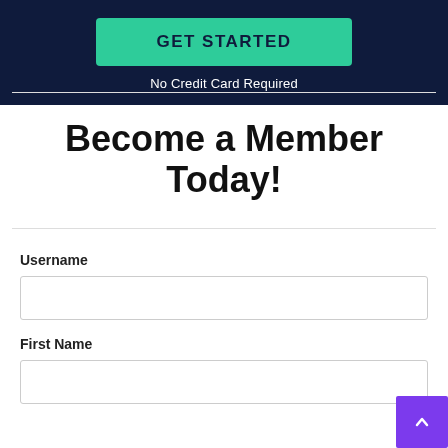[Figure (screenshot): Dark navy banner with a green 'GET STARTED' button and 'No Credit Card Required' text beneath it]
Become a Member Today!
Username
First Name